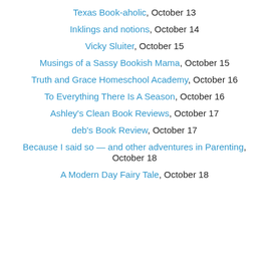Texas Book-aholic, October 13
Inklings and notions, October 14
Vicky Sluiter, October 15
Musings of a Sassy Bookish Mama, October 15
Truth and Grace Homeschool Academy, October 16
To Everything There Is A Season, October 16
Ashley's Clean Book Reviews, October 17
deb's Book Review, October 17
Because I said so — and other adventures in Parenting, October 18
A Modern Day Fairy Tale, October 18